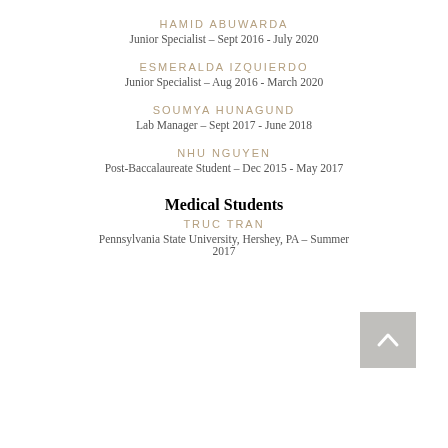HAMID ABUWARDA
Junior Specialist – Sept 2016 - July 2020
ESMERALDA IZQUIERDO
Junior Specialist – Aug 2016 - March 2020
SOUMYA HUNAGUND
Lab Manager – Sept 2017 - June 2018
NHU NGUYEN
Post-Baccalaureate Student – Dec 2015 - May 2017
Medical Students
TRUC TRAN
Pennsylvania State University, Hershey, PA – Summer 2017